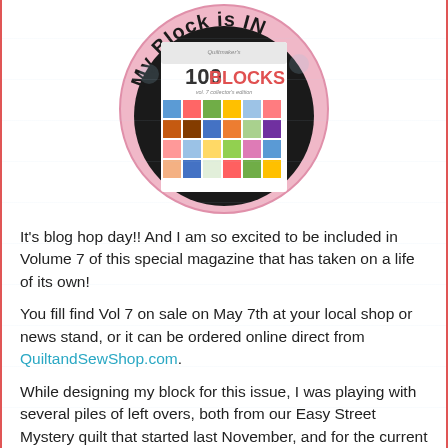[Figure (illustration): A circular badge with pink border containing the text 'My Block is IN' around the top arc, and a magazine cover showing 'Quiltmaker's 100 BLOCKS vol. 7 collector's edition' with a grid of colorful quilt block images.]
It's blog hop day!!  And I am so excited to be included in Volume 7 of this special magazine that has taken on a life of its own!
You fill find Vol 7 on sale on May 7th at your local shop or news stand, or it can be ordered online direct from QuiltandSewShop.com.
While designing my block for this issue, I was playing with several piles of left overs, both from our Easy Street Mystery quilt that started last November, and for the current mystery running in Quiltmaker Magazine, Lazy Sunday!